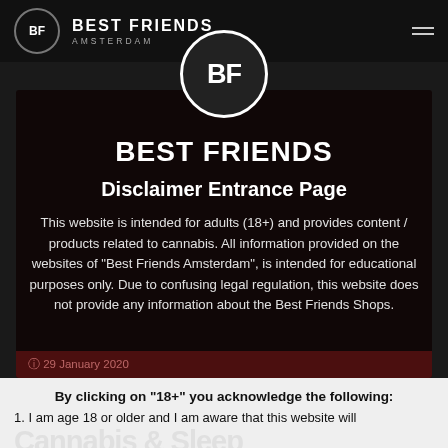BF BEST FRIENDS AMSTERDAM
[Figure (logo): Best Friends Amsterdam circular logo with BF monogram, large white circle with BF text]
BEST FRIENDS
Disclaimer Entrance Page
This website is intended for adults (18+) and provides content / products related to cannabis. All information provided on the websites of "Best Friends Amsterdam", is intended for educational purposes only. Due to confusing legal regulation, this website does not provide any information about the Best Friends Shops.
By clicking on "18+" you acknowledge the following:
1. I am age 18 or older and I am aware that this website will